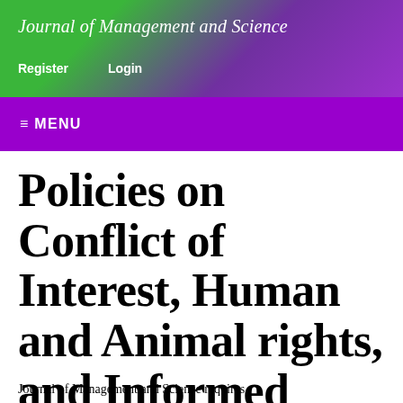Journal of Management and Science
Register   Login
≡ MENU
Policies on Conflict of Interest, Human and Animal rights, and Informed Consent
Journal of Management and Science requires